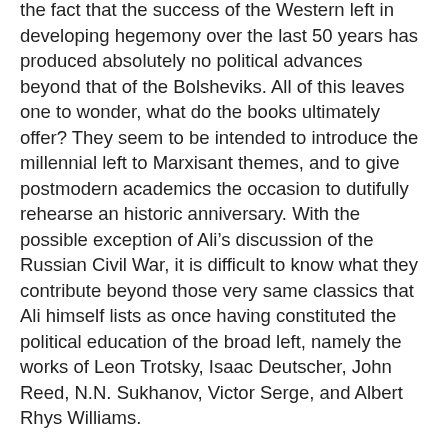development in a system of state capitalism was in fact a call for developing “hegemony”—ignoring the fact that the success of the Western left in developing hegemony over the last 50 years has produced absolutely no political advances beyond that of the Bolsheviks. All of this leaves one to wonder, what do the books ultimately offer? They seem to be intended to introduce the millennial left to Marxisant themes, and to give postmodern academics the occasion to dutifully rehearse an historic anniversary. With the possible exception of Ali’s discussion of the Russian Civil War, it is difficult to know what they contribute beyond those very same classics that Ali himself lists as once having constituted the political education of the broad left, namely the works of Leon Trotsky, Isaac Deutscher, John Reed, N.N. Sukhanov, Victor Serge, and Albert Rhys Williams.